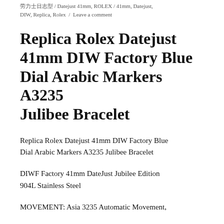劳力士日志型 / Datejust 41mm, ROLEX / 41mm, Datejust, DIW, Replica, Rolex / Leave a comment
Replica Rolex Datejust 41mm DIW Factory Blue Dial Arabic Markers A3235 Julibee Bracelet
Replica Rolex Datejust 41mm DIW Factory Blue Dial Arabic Markers A3235 Julibee Bracelet
DIWF Factory 41mm DateJust Jubilee Edition 904L Stainless Steel
MOVEMENT: Asia 3235 Automatic Movement,